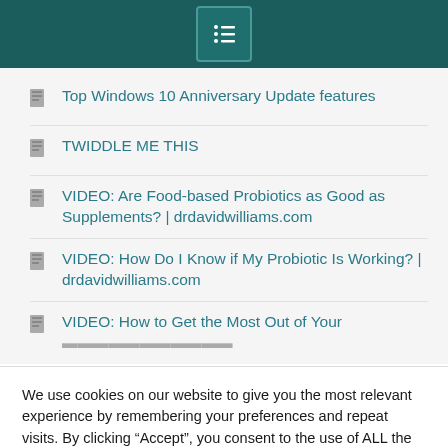Navigation menu header bar
Top Windows 10 Anniversary Update features
TWIDDLE ME THIS
VIDEO: Are Food-based Probiotics as Good as Supplements? | drdavidwilliams.com
VIDEO: How Do I Know if My Probiotic Is Working? | drdavidwilliams.com
VIDEO: How to Get the Most Out of Your Probiotic | drdavidwilliams.com
We use cookies on our website to give you the most relevant experience by remembering your preferences and repeat visits. By clicking “Accept”, you consent to the use of ALL the cookies. Do not sell my personal information.
Cookie Settings  Accept  Translate »